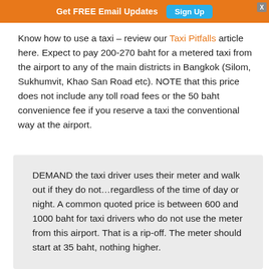Get FREE Email Updates  Sign Up
Know how to use a taxi – review our Taxi Pitfalls article here. Expect to pay 200-270 baht for a metered taxi from the airport to any of the main districts in Bangkok (Silom, Sukhumvit, Khao San Road etc). NOTE that this price does not include any toll road fees or the 50 baht convenience fee if you reserve a taxi the conventional way at the airport.
DEMAND the taxi driver uses their meter and walk out if they do not…regardless of the time of day or night. A common quoted price is between 600 and 1000 baht for taxi drivers who do not use the meter from this airport. That is a rip-off. The meter should start at 35 baht, nothing higher.